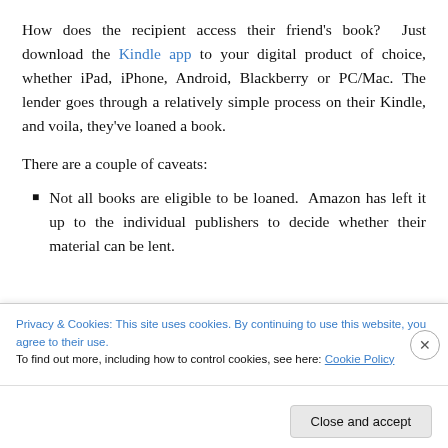How does the recipient access their friend's book?  Just download the Kindle app to your digital product of choice, whether iPad, iPhone, Android, Blackberry or PC/Mac.  The lender goes through a relatively simple process on their Kindle, and voila, they've loaned a book.
There are a couple of caveats:
Not all books are eligible to be loaned.  Amazon has left it up to the individual publishers to decide whether their material can be lent.
Privacy & Cookies: This site uses cookies. By continuing to use this website, you agree to their use.
To find out more, including how to control cookies, see here: Cookie Policy